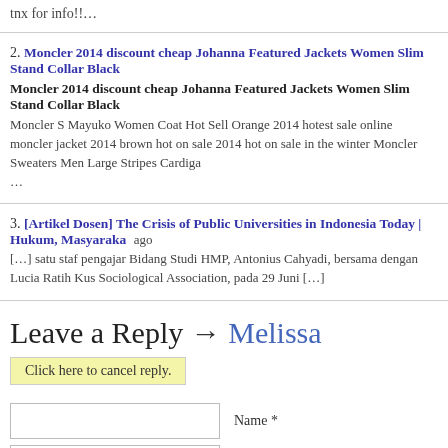tnx for info!!…
2. Moncler 2014 discount cheap Johanna Featured Jackets Women Slim Stand Collar Black
Moncler 2014 discount cheap Johanna Featured Jackets Women Slim Stand Collar Black
Moncler S Mayuko Women Coat Hot Sell Orange 2014 hotest sale online moncler jacket 2014 brown hot on sale 2014 hot on sale in the winter Moncler Sweaters Men Large Stripes Cardigan …
3. [Artikel Dosen] The Crisis of Public Universities in Indonesia Today | Hukum, Masyaraka ago
[…] satu staf pengajar Bidang Studi HMP, Antonius Cahyadi, bersama dengan Lucia Ratih Kus Sociological Association, pada 29 Juni […]
Leave a Reply → Melissa
Click here to cancel reply.
Name *
Email *
Website